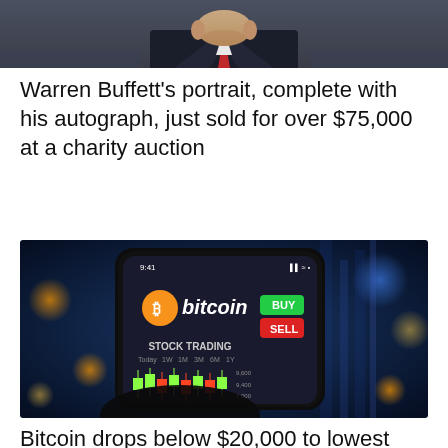[Figure (photo): Cropped photo of Warren Buffett in a dark suit with red tie, showing from chin down]
Warren Buffett's portrait, complete with his autograph, just sold for over $75,000 at a charity auction
[Figure (photo): A smartphone held in hand showing the Bitcoin stock trading app with BUY (green) and SELL (red) buttons, with a colorful candlestick chart, set against a blurred city night background with blue bokeh lights]
Bitcoin drops below $20,000 to lowest level since